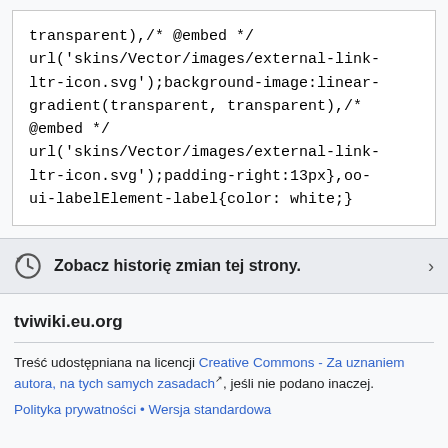transparent),/* @embed */
url('skins/Vector/images/external-link-ltr-icon.svg');background-image:linear-gradient(transparent, transparent),/* @embed */
url('skins/Vector/images/external-link-ltr-icon.svg');padding-right:13px},oo-ui-labelElement-label{color: white;}
Zobacz historię zmian tej strony.
tviwiki.eu.org
Treść udostępniana na licencji Creative Commons - Za uznaniem autora, na tych samych zasadach, jeśli nie podano inaczej.
Polityka prywatności • Wersja standardowa